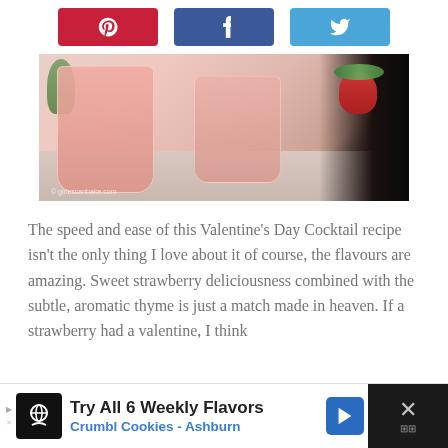[Figure (other): Three social sharing buttons: Pinterest (red), Facebook (dark blue), Twitter (light blue), each with icon]
[Figure (photo): Close-up photo of two pink cocktail drinks in glasses on a light wooden surface, with strawberries and greenery in the background. Copyright girlescanbake.com]
The speed and ease of this Valentine's Day Cocktail recipe isn't the only thing I love about it of course, the flavours are amazing. Sweet strawberry deliciousness combined with the subtle, aromatic thyme is just a match made in heaven. If a strawberry had a valentine, I think
[Figure (screenshot): Advertisement banner: Try All 6 Weekly Flavors - Crumbl Cookies - Ashburn, with navigation arrow icon and close button]